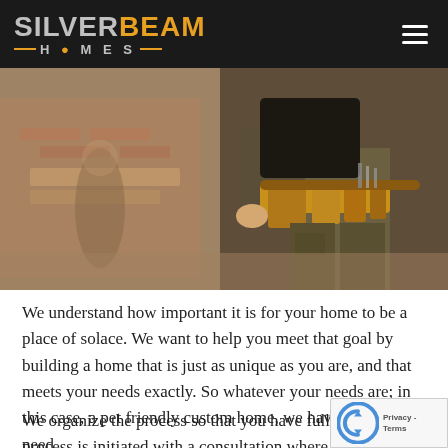Silver Beam Homes
[Figure (photo): Construction worker wearing a leather tool belt and khaki pants, standing at a worksite with blurred background showing bricks and lumber.]
We understand how important it is for your home to be a place of solace. We want to help you meet that goal by building a home that is just as unique as you are, and that meets your needs exactly. So whatever your needs are; in this case, a pet friendly custom home, we have what you need.
We organize the process so that you have full control. The process is initiated with a consultation where we take your feedback into account and find out what you really want your home to be...